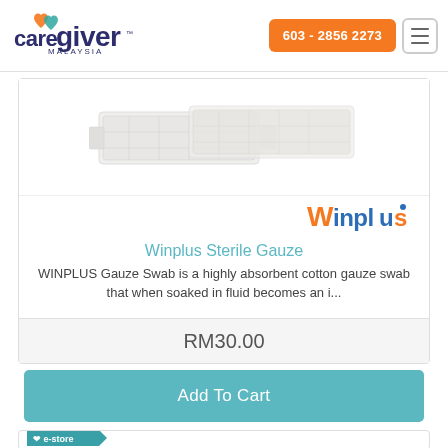[Figure (logo): Caregiver Malaysia logo with heart icon]
603 - 2856 2273
[Figure (photo): Winplus Sterile Gauze product image]
[Figure (logo): Winplus brand logo in orange and blue]
Winplus Sterile Gauze
WINPLUS Gauze Swab is a highly absorbent cotton gauze swab that when soaked in fluid becomes an i...
RM30.00
Add To Cart
[Figure (logo): e-store banner teal logo with heart]